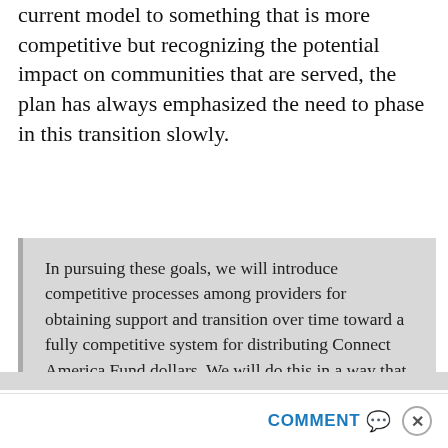current model to something that is more competitive but recognizing the potential impact on communities that are served, the plan has always emphasized the need to phase in this transition slowly.
In pursuing these goals, we will introduce competitive processes among providers for obtaining support and transition over time toward a fully competitive system for distributing Connect America Fund dollars. We will do this in a way that recognizes the strong benefits of competitive processes, and also that we are not writing on a blank slate, and that a flash-cut to competitive bidding in some parts of the decades-old program risks consumer disruption, build-out delays, and other unintended consequences.
COMMENT